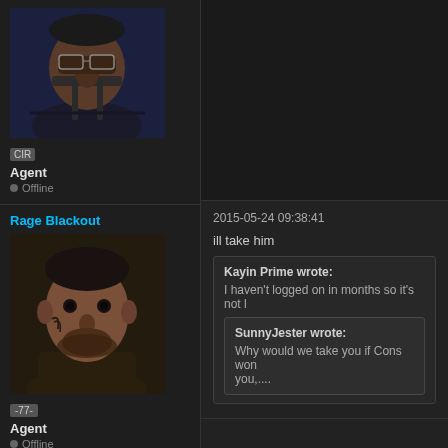[Figure (screenshot): Avatar image of user CIR - dark 3D rendered character with glasses]
CIR
Agent
Offline
Rage Blackout
[Figure (screenshot): Avatar image of Rage Blackout - 3D rendered face with beard]
-77-
Agent
Offline
2015-05-24 09:38:41
ill take him
Kayin Prime wrote:
I haven't logged on in months so it's not l
SunnyJester wrote:
Why would we take you if Cons won't take you,.....